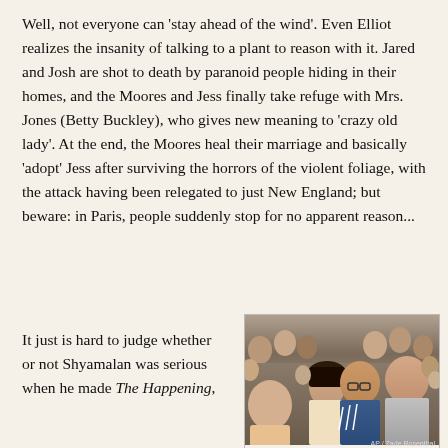Well, not everyone can 'stay ahead of the wind'. Even Elliot realizes the insanity of talking to a plant to reason with it. Jared and Josh are shot to death by paranoid people hiding in their homes, and the Moores and Jess finally take refuge with Mrs. Jones (Betty Buckley), who gives new meaning to 'crazy old lady'. At the end, the Moores heal their marriage and basically 'adopt' Jess after surviving the horrors of the violent foliage, with the attack having been relegated to just New England; but beware: in Paris, people suddenly stop for no apparent reason...
It just is hard to judge whether or not Shyamalan was serious when he made The Happening, whether...
[Figure (photo): A crowd of people looking upward with concerned expressions. Three main subjects visible in foreground: a young girl, a man with glasses in a blue Adidas jacket, and a man in a grey shirt. Many people visible in the background.]
AP / Zade Rosenthal
Mark Wahlberg's expression through...